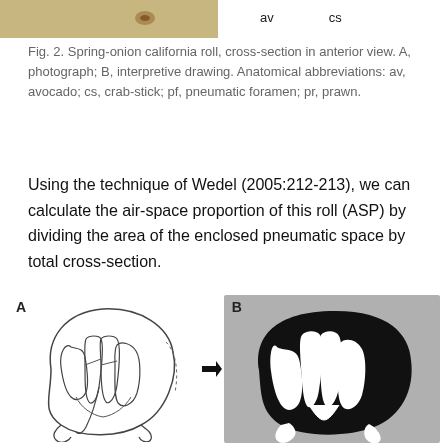[Figure (photo): Top strip showing partial photo of spring-onion california roll cross-section (left) and abbreviated anatomical labels 'av' and 'cs' (right)]
Fig. 2. Spring-onion california roll, cross-section in anterior view. A, photograph; B, interpretive drawing. Anatomical abbreviations: av, avocado; cs, crab-stick; pf, pneumatic foramen; pr, prawn.
Using the technique of Wedel (2005:212-213), we can calculate the air-space proportion of this roll (ASP) by dividing the area of the enclosed pneumatic space by total cross-section.
[Figure (illustration): Figure A: line drawing of cross-section of california roll showing internal anatomy. Figure B: interpretive drawing on grey background showing black silhouette of pneumatic spaces within the roll cross-section. Arrow points from A to B.]